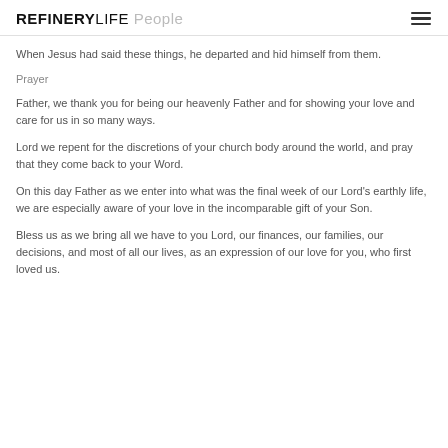REFINERYLIFE People
When Jesus had said these things, he departed and hid himself from them.
Prayer
Father, we thank you for being our heavenly Father and for showing your love and care for us in so many ways.
Lord we repent for the discretions of your church body around the world, and pray that they come back to your Word.
On this day Father as we enter into what was the final week of our Lord's earthly life, we are especially aware of your love in the incomparable gift of your Son.
Bless us as we bring all we have to you Lord, our finances, our families, our decisions, and most of all our lives, as an expression of our love for you, who first loved us.